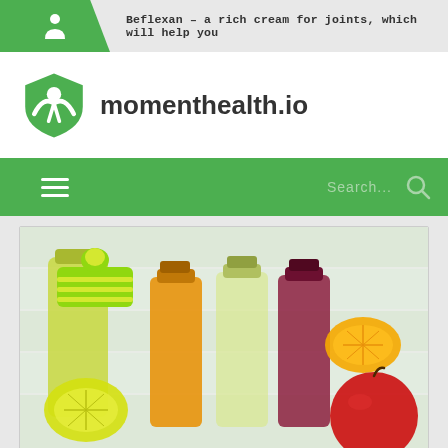Beflexan – a rich cream for joints, which will help you
[Figure (logo): momenthealth.io logo with green shield icon and site name]
[Figure (photo): Several juice bottles with colorful liquids (yellow-green, orange, purple/red) wearing a knitted winter hat, surrounded by orange slices, lemon slice, and a red apple on a white background]